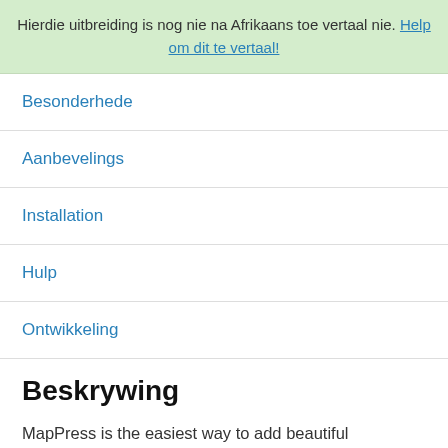Hierdie uitbreiding is nog nie na Afrikaans toe vertaal nie. Help om dit te vertaal!
Besonderhede
Aanbevelings
Installation
Hulp
Ontwikkeling
Beskrywing
MapPress is the easiest way to add beautiful interactive Google and Leaflet maps to WordPress.
Create unlimited maps and map markers using Gutenberg blocks or the classic editor. The popup